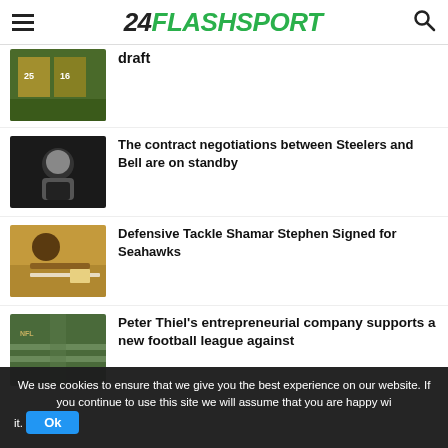24FLASHSPORT
[Figure (photo): Football players on a field, one wearing #25 and #16, in yellow and black uniforms]
draft
[Figure (photo): A Steelers player sitting on the field]
The contract negotiations between Steelers and Bell are on standby
[Figure (photo): A man in a black cap signing a document at a desk]
Defensive Tackle Shamar Stephen Signed for Seahawks
[Figure (photo): A football stadium field with yard markings visible]
Peter Thiel's entrepreneurial company supports a new football league against
We use cookies to ensure that we give you the best experience on our website. If you continue to use this site we will assume that you are happy with it.